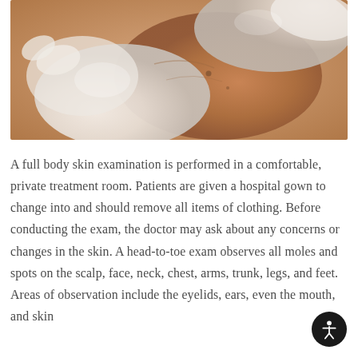[Figure (photo): Close-up photo of a medical professional wearing white latex gloves examining a patient's skin on their back/shoulder area. The gloved hands are pressing/stretching the skin for examination.]
A full body skin examination is performed in a comfortable, private treatment room. Patients are given a hospital gown to change into and should remove all items of clothing. Before conducting the exam, the doctor may ask about any concerns or changes in the skin. A head-to-toe exam observes all moles and spots on the scalp, face, neck, chest, arms, trunk, legs, and feet. Areas of observation include the eyelids, ears, even the mouth, and skin